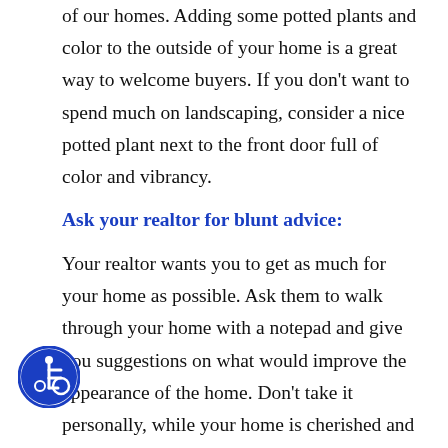of our homes. Adding some potted plants and color to the outside of your home is a great way to welcome buyers. If you don't want to spend much on landscaping, consider a nice potted plant next to the front door full of color and vibrancy.
Ask your realtor for blunt advice:
Your realtor wants you to get as much for your home as possible. Ask them to walk through your home with a notepad and give you suggestions on what would improve the appearance of the home. Don't take it personally, while your home is cherished and you likely have many great memories there, at